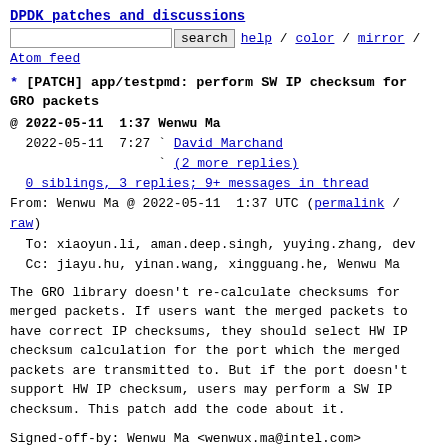DPDK patches and discussions
search  help / color / mirror /
Atom feed
* [PATCH] app/testpmd: perform SW IP checksum for GRO packets
@ 2022-05-11  1:37 Wenwu Ma
  2022-05-11  7:27 ` David Marchand
                   ` (2 more replies)
  0 siblings, 3 replies; 9+ messages in thread
From: Wenwu Ma @ 2022-05-11  1:37 UTC (permalink / raw)
  To: xiaoyun.li, aman.deep.singh, yuying.zhang, dev
  Cc: jiayu.hu, yinan.wang, xingguang.he, Wenwu Ma
The GRO library doesn't re-calculate checksums for merged packets. If users want the merged packets to have correct IP checksums, they should select HW IP checksum calculation for the port which the merged packets are transmitted to. But if the port doesn't support HW IP checksum, users may perform a SW IP checksum. This patch add the code about it.
Signed-off-by: Wenwu Ma <wenwux.ma@intel.com>
---
 app/test-pmd/csumonly.c | 12 ++++++++++++
 1 file changed, 12 insertions(+)
diff --git a/app/test-pmd/csumonly.c b/app/test-pmd/csumonly.c